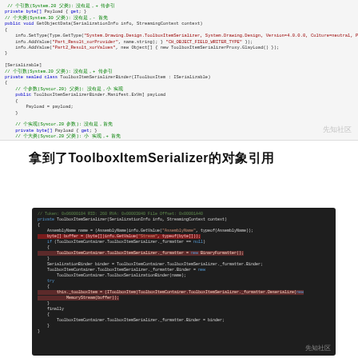[Figure (screenshot): Code screenshot showing C# code with light background, including GetViaToolboxItemBinder and SetValue method implementations with Chinese comments]
拿到了ToolboxItemSerializer的对象引用
[Figure (screenshot): Dark-themed code screenshot showing private ToolboxItemSerializer constructor with SerializationInfo and StreamingContext, BinaryFormatter initialization, and deserialization logic with highlighted lines in red]